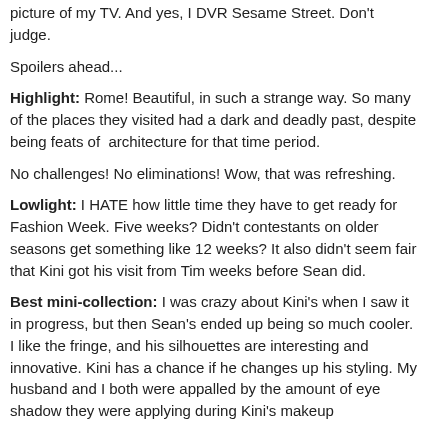picture of my TV. And yes, I DVR Sesame Street. Don't judge.
Spoilers ahead...
Highlight: Rome! Beautiful, in such a strange way. So many of the places they visited had a dark and deadly past, despite being feats of architecture for that time period.
No challenges! No eliminations! Wow, that was refreshing.
Lowlight: I HATE how little time they have to get ready for Fashion Week. Five weeks? Didn't contestants on older seasons get something like 12 weeks? It also didn't seem fair that Kini got his visit from Tim weeks before Sean did.
Best mini-collection: I was crazy about Kini's when I saw it in progress, but then Sean's ended up being so much cooler. I like the fringe, and his silhouettes are interesting and innovative. Kini has a chance if he changes up his styling. My husband and I both were appalled by the amount of eye shadow they were applying during Kini's makeup consultation.